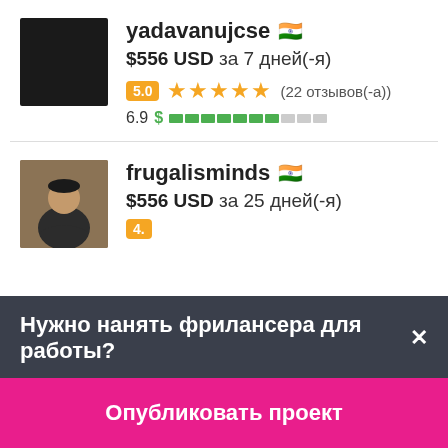yadavanujcse 🇮🇳
$556 USD за 7 дней(-я)
5.0 ★★★★★ (22 отзывов(-а))
6.9 $ ████████░░░
frugalisminds 🇮🇳
$556 USD за 25 дней(-я)
Нужно нанять фрилансера для работы?✕
Опубликовать проект